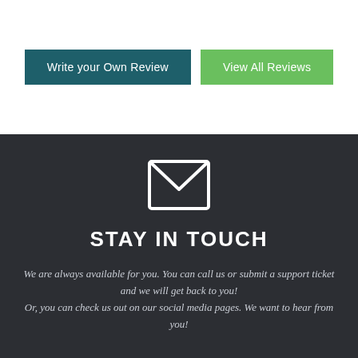Write your Own Review
View All Reviews
[Figure (illustration): Envelope / mail icon in white outline style]
STAY IN TOUCH
We are always available for you. You can call us or submit a support ticket and we will get back to you! Or, you can check us out on our social media pages. We want to hear from you!